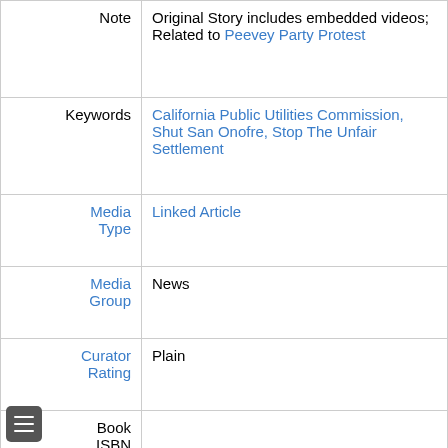| Field | Value |
| --- | --- |
| Note | Original Story includes embedded videos; Related to Peevey Party Protest |
| Keywords | California Public Utilities Commission, Shut San Onofre, Stop The Unfair Settlement |
| Media Type | Linked Article |
| Media Group | News |
| Curator Rating | Plain |
| Book ISBN |  |
| Author Name Sortable |  |
| Thumbnail |  |